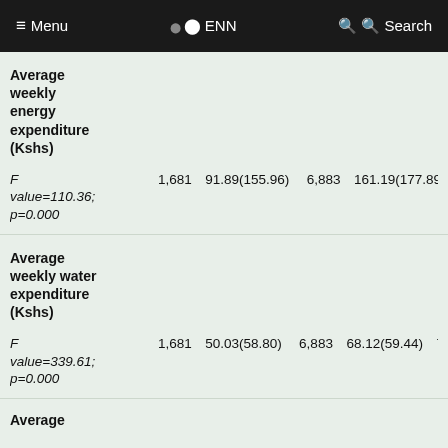Menu  ENN  Search
| Variable | n | Mean(SD) | n | Mean(SD) | n... |
| --- | --- | --- | --- | --- | --- |
| Average weekly energy expenditure (Kshs)
F value=110.36; p=0.000 | 1,681 | 91.89(155.96) | 6,883 | 161.19(177.89) | 7,... |
| Average weekly water expenditure (Kshs)
F value=339.61; p=0.000 | 1,681 | 50.03(58.80) | 6,883 | 68.12(59.44) | 7,... |
| Average |  |  |  |  |  |